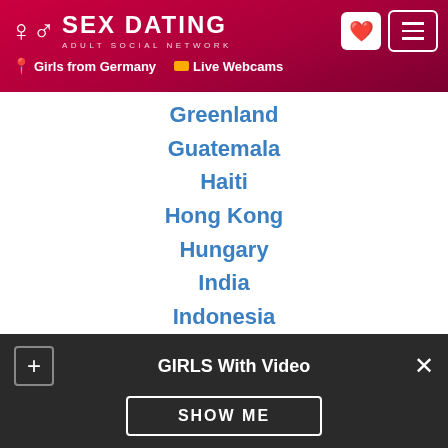SEX DATING — ADULT SOCIAL NETWORK — Girls from Germany — Live Webcams
Greenland
Guatemala
Haiti
Hong Kong
Hungary
India
Indonesia
Iran
Ireland
Israel
Italy
Japan
Kazakhstan
GIRLS With Video — SHOW ME